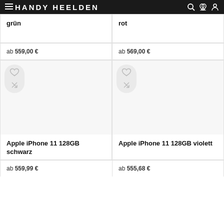HANDY HEELDEN
grün
rot
ab 559,00 €
ab 569,00 €
Apple iPhone 11 128GB schwarz
Apple iPhone 11 128GB violett
ab 559,99 €
ab 555,68 €